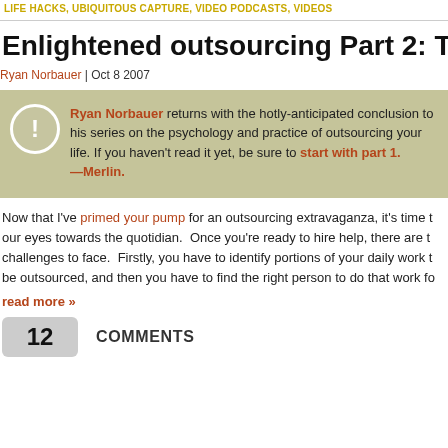LIFE HACKS, UBIQUITOUS CAPTURE, VIDEO PODCASTS, VIDEOS
Enlightened outsourcing Part 2: The pra
Ryan Norbauer | Oct 8 2007
Ryan Norbauer returns with the hotly-anticipated conclusion to his series on the psychology and practice of outsourcing your life. If you haven't read it yet, be sure to start with part 1. —Merlin.
Now that I've primed your pump for an outsourcing extravaganza, it's time to our eyes towards the quotidian. Once you're ready to hire help, there are t challenges to face. Firstly, you have to identify portions of your daily work t be outsourced, and then you have to find the right person to do that work fo
read more »
12 COMMENTS